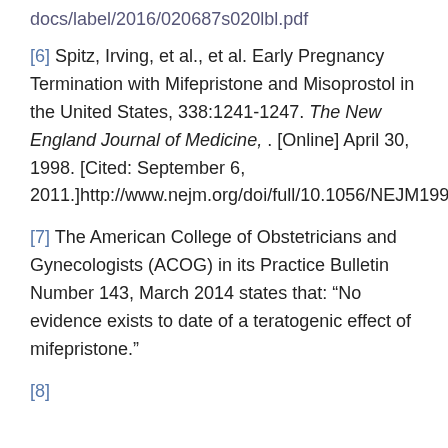docs/label/2016/020687s020lbl.pdf
[6] Spitz, Irving, et al., et al. Early Pregnancy Termination with Mifepristone and Misoprostol in the United States, 338:1241-1247. The New England Journal of Medicine, . [Online] April 30, 1998. [Cited: September 6, 2011.]http://www.nejm.org/doi/full/10.1056/NEJM199804303381801
[7] The American College of Obstetricians and Gynecologists (ACOG) in its Practice Bulletin Number 143, March 2014 states that: “No evidence exists to date of a teratogenic effect of mifepristone.”
[8]